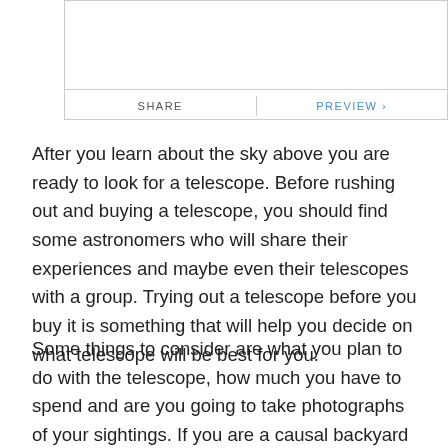[Figure (screenshot): UI box with SHARE and PREVIEW buttons separated by a vertical divider]
After you learn about the sky above you are ready to look for a telescope. Before rushing out and buying a telescope, you should find some astronomers who will share their experiences and maybe even their telescopes with a group. Trying out a telescope before you buy it is something that will help you decide on what telescope will be best for you.
Some things to consider are what you plan to do with the telescope, how much you have to spend and are you going to take photographs of your sightings. If you are a causal backyard astronomer, you might even look at the